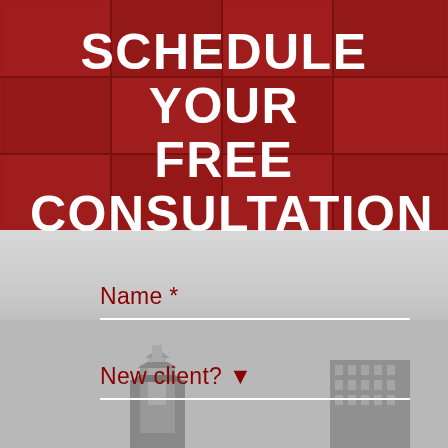SCHEDULE YOUR FREE CONSULTATION
Name *
New client? ▼